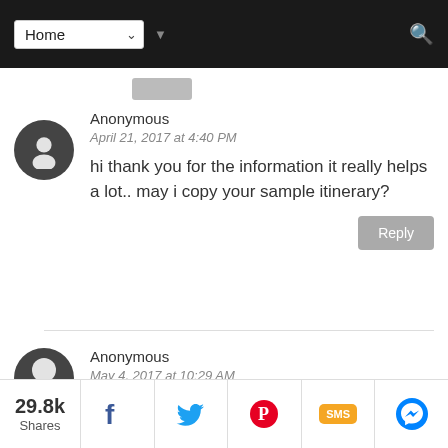Home
Anonymous
April 21, 2017 at 4:40 PM
hi thank you for the information it really helps a lot.. may i copy your sample itinerary?
Anonymous
May 4, 2017 at 10:29 AM
29.8k Shares